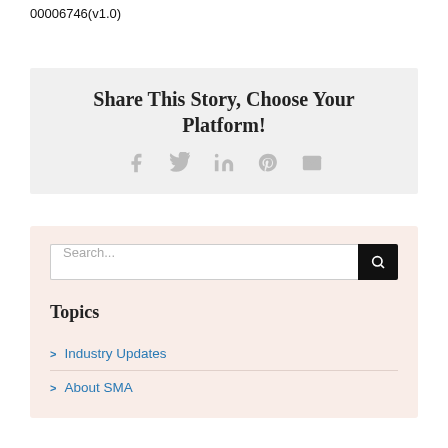00006746(v1.0)
Share This Story, Choose Your Platform!
[Figure (infographic): Social sharing icons: Facebook, Twitter, LinkedIn, Pinterest, Email — rendered in grey]
Search...
Topics
Industry Updates
About SMA